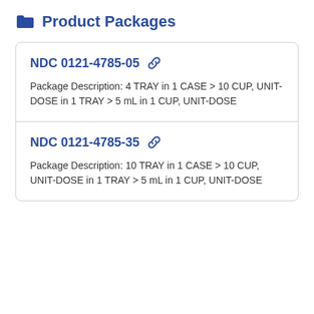Product Packages
NDC 0121-4785-05
Package Description: 4 TRAY in 1 CASE > 10 CUP, UNIT-DOSE in 1 TRAY > 5 mL in 1 CUP, UNIT-DOSE
NDC 0121-4785-35
Package Description: 10 TRAY in 1 CASE > 10 CUP, UNIT-DOSE in 1 TRAY > 5 mL in 1 CUP, UNIT-DOSE